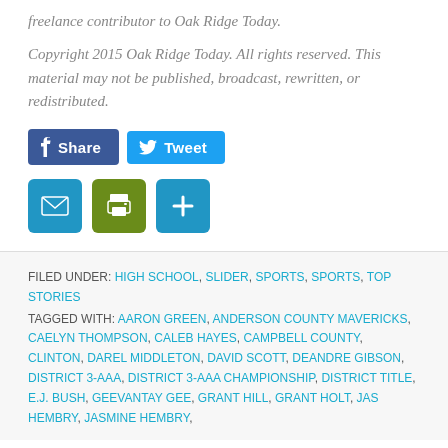freelance contributor to Oak Ridge Today.
Copyright 2015 Oak Ridge Today. All rights reserved. This material may not be published, broadcast, rewritten, or redistributed.
[Figure (other): Social sharing buttons: Facebook Share (blue), Twitter Tweet (light blue), Email (blue icon), Print (green icon), Plus/share (blue icon)]
FILED UNDER: HIGH SCHOOL, SLIDER, SPORTS, SPORTS, TOP STORIES
TAGGED WITH: AARON GREEN, ANDERSON COUNTY MAVERICKS, CAELYN THOMPSON, CALEB HAYES, CAMPBELL COUNTY, CLINTON, DAREL MIDDLETON, DAVID SCOTT, DEANDRE GIBSON, DISTRICT 3-AAA, DISTRICT 3-AAA CHAMPIONSHIP, DISTRICT TITLE, E.J. BUSH, GEEVANTAY GEE, GRANT HILL, GRANT HOLT, JAS HEMBRY, JASMINE HEMBRY,